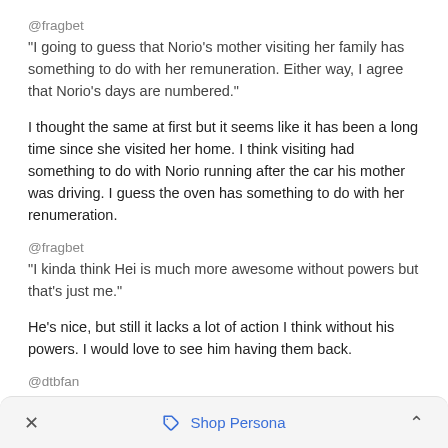@fragbet
"I going to guess that Norio's mother visiting her family has something to do with her remuneration. Either way, I agree that Norio's days are numbered."
I thought the same at first but it seems like it has been a long time since she visited her home. I think visiting had something to do with Norio running after the car his mother was driving. I guess the oven has something to do with her renumeration.
@fragbet
"I kinda think Hei is much more awesome without powers but that's just me."
He's nice, but still it lacks a lot of action I think without his powers. I would love to see him having them back.
@dtbfan
"prediction: Madame is a contractor who can mindread"
× Shop Persona ^